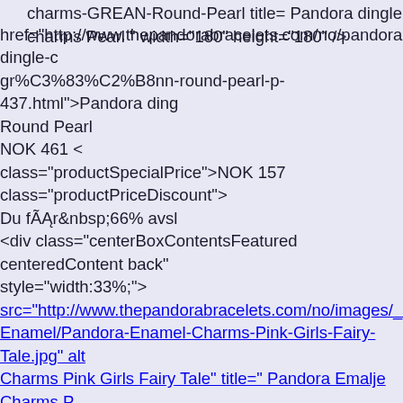charms-GREAN-Round-Pearl title= Pandora dingle charms Pearl " width="180" height="180" /></div></a><br /><a href="http://www.thepandorabracelets.com/no/pandora-dingle-c gr%C3%83%C2%B8nn-round-pearl-p-437.html">Pandora ding Round Pearl</a><br /><span class="normalprice">NOK 461 < class="productSpecialPrice">NOK 157</span><span class="productPriceDiscount"><br />Du fÃĄr&nbsp;66% avsl <div class="centerBoxContentsFeatured centeredContent back" style="width:33%;"><a href="http://www.thepandorabracelets.c emalje-charms-pink-girls-fairy-tale-p-710.html"><div style="ve middle;height:180px"><img src="http://www.thepandorabracelets.com/no/images/_small//pa Enamel/Pandora-Enamel-Charms-Pink-Girls-Fairy-Tale.jpg" alt Charms Pink Girls Fairy Tale" title=" Pandora Emalje Charms P " width="180" height="180" /></div></a><br /><a href="http://www.thepandorabracelets.com/no/pandora-emalje- fairy-tale-p-710.html">Pandora Emalje Charms Pink Girls Fairy <span class="normalprice">NOK 684 </span>&nbsp;<span class="productSpecialPrice">NOK 239</span><span class="productPriceDiscount"><br />Du fÃĄr&nbsp;65% avsl <br class="clearBoth" /> </div>